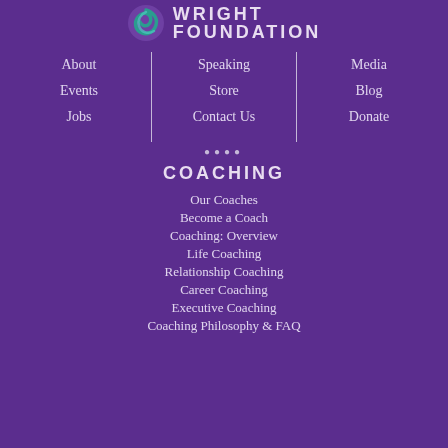[Figure (logo): Wright Foundation logo with circular swirl icon and text WRIGHT FOUNDATION]
About
Events
Jobs
Speaking
Store
Contact Us
Media
Blog
Donate
COACHING
Our Coaches
Become a Coach
Coaching: Overview
Life Coaching
Relationship Coaching
Career Coaching
Executive Coaching
Coaching Philosophy & FAQ